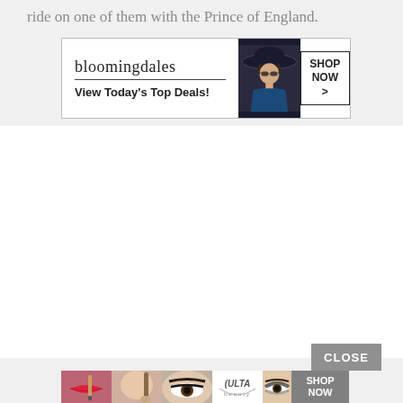ride on one of them with the Prince of England.
[Figure (advertisement): Bloomingdale's banner advertisement with logo, tagline 'View Today's Top Deals!', fashion model in hat, and 'SHOP NOW >' button]
[Figure (advertisement): ULTA Beauty banner advertisement with beauty photos (lips, brush, eyes, logo, eye makeup) and 'SHOP NOW' button. Has a 'CLOSE' button above it.]